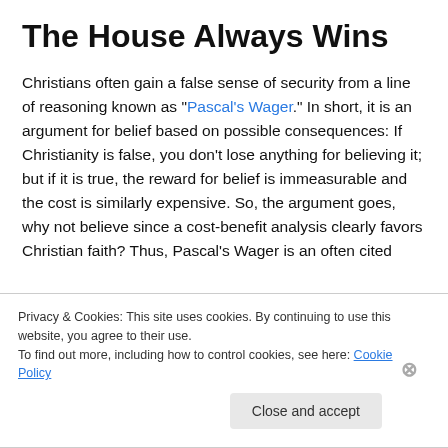The House Always Wins
Christians often gain a false sense of security from a line of reasoning known as “Pascal’s Wager.” In short, it is an argument for belief based on possible consequences: If Christianity is false, you don’t lose anything for believing it; but if it is true, the reward for belief is immeasurable and the cost is similarly expensive. So, the argument goes, why not believe since a cost-benefit analysis clearly favors Christian faith? Thus, Pascal’s Wager is an often cited
Privacy & Cookies: This site uses cookies. By continuing to use this website, you agree to their use.
To find out more, including how to control cookies, see here: Cookie Policy
Close and accept